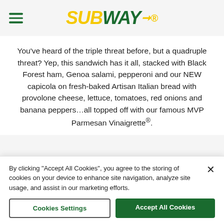SUBWAY (logo with hamburger menu)
You’ve heard of the triple threat before, but a quadruple threat? Yep, this sandwich has it all, stacked with Black Forest ham, Genoa salami, pepperoni and our NEW capicola on fresh-baked Artisan Italian bread with provolone cheese, lettuce, tomatoes, red onions and banana peppers…all topped off with our famous MVP Parmesan Vinaigrette®.
By clicking “Accept All Cookies”, you agree to the storing of cookies on your device to enhance site navigation, analyze site usage, and assist in our marketing efforts.
Cookies Settings
Accept All Cookies